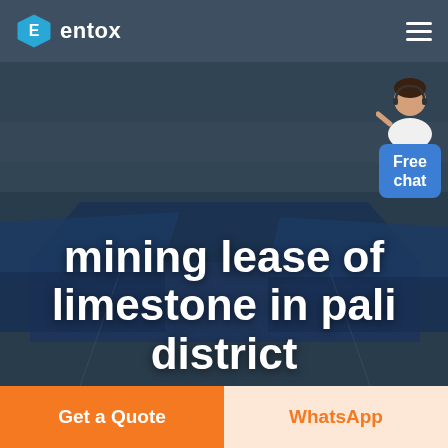entox
[Figure (photo): Aerial view of industrial buildings with blue rooftops, overlaid with dark semi-transparent color. Hero banner background for mining lease service page.]
mining lease of limestone in pali district
[Figure (illustration): Chat widget with person avatar and blue 'Free chat' button in top-right corner]
Get a Quote
WhatsApp